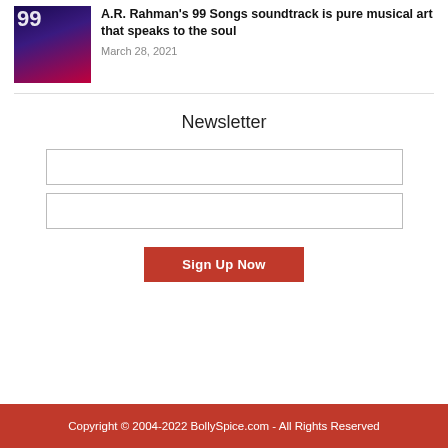[Figure (photo): Thumbnail image for 99 Songs movie with dark purple and red background]
A.R. Rahman's 99 Songs soundtrack is pure musical art that speaks to the soul
March 28, 2021
Newsletter
Sign Up Now
Copyright © 2004-2022 BollySpice.com - All Rights Reserved